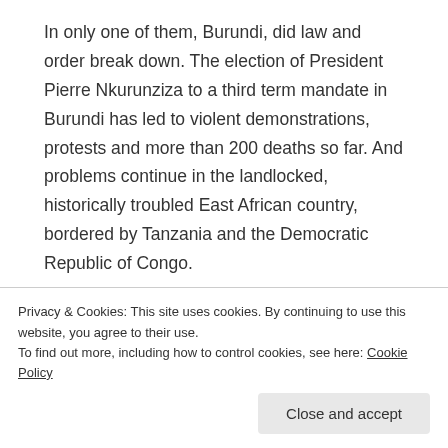In only one of them, Burundi, did law and order break down. The election of President Pierre Nkurunziza to a third term mandate in Burundi has led to violent demonstrations, protests and more than 200 deaths so far. And problems continue in the landlocked, historically troubled East African country, bordered by Tanzania and the Democratic Republic of Congo.
The parliamentary and presidential elections that returned President Pierre Nkurunziza, 51, to power for a third time were widely criticized. Opposition parties claimed that the amendment of constitution and
Privacy & Cookies: This site uses cookies. By continuing to use this website, you agree to their use.
To find out more, including how to control cookies, see here: Cookie Policy
Close and accept